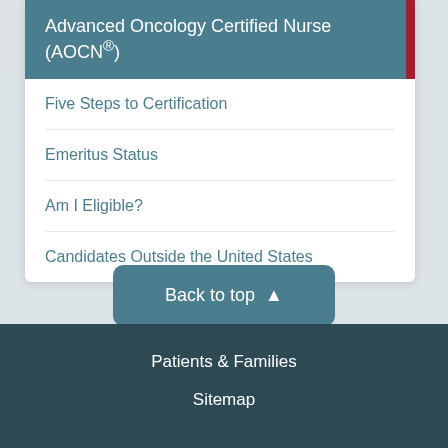Advanced Oncology Certified Nurse (AOCN®)
Five Steps to Certification
Emeritus Status
Am I Eligible?
Candidates Outside the United States
Back to top ▲
Patients & Families
Sitemap